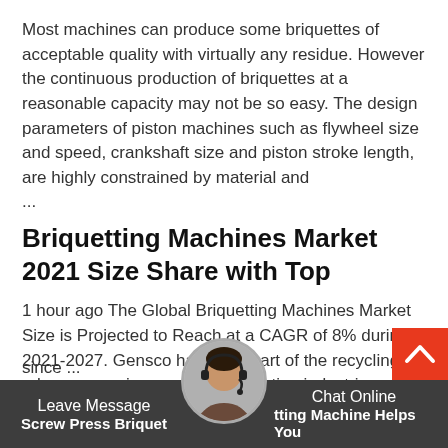Most machines can produce some briquettes of acceptable quality with virtually any residue. However the continuous production of briquettes at a reasonable capacity may not be so easy. The design parameters of piston machines such as flywheel size and speed, crankshaft size and piston stroke length, are highly constrained by material and
...
Briquetting Machines Market 2021 Size Share with Top
1 hour ago The Global Briquetting Machines Market Size is Projected to Reach at a CAGR of 8% during 2021-2027. Gensco has been part of the recycling, rebar processing, and bur fabrication industri since ...
Leave Message   Chat Online
Screw Press Briquetting Machine Helps You